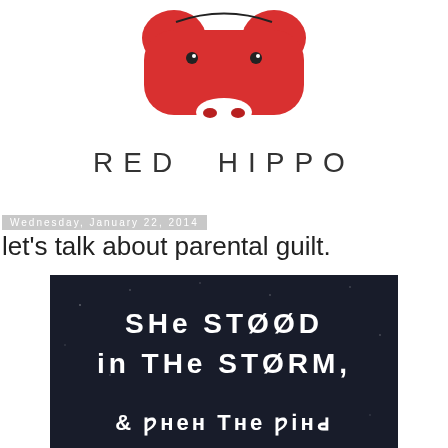[Figure (logo): Red Hippo logo: a red hippo illustration above the text RED HIPPO in spaced capital letters]
Wednesday, January 22, 2014
let's talk about parental guilt.
[Figure (photo): Dark background image with stylized white text reading: she stood in the storm, & when the wind (partially visible)]